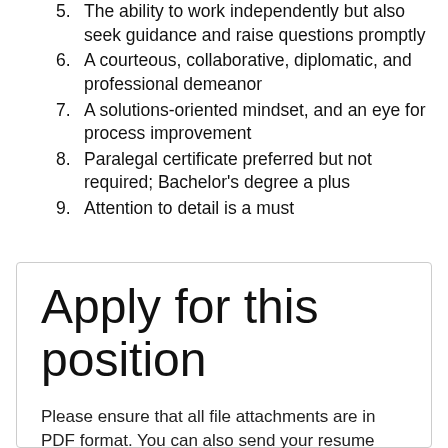The ability to work independently but also seek guidance and raise questions promptly
A courteous, collaborative, diplomatic, and professional demeanor
A solutions-oriented mindset, and an eye for process improvement
Paralegal certificate preferred but not required; Bachelor's degree a plus
Attention to detail is a must
Apply for this position
Please ensure that all file attachments are in PDF format. You can also send your resume and cover letter to